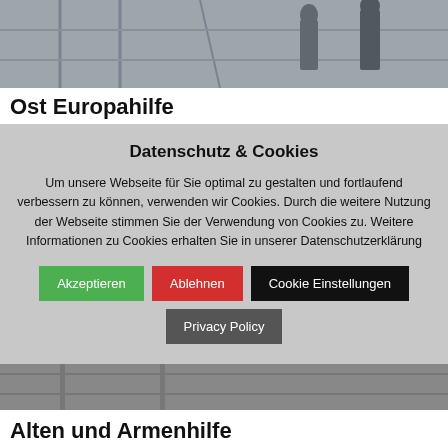[Figure (photo): Grayscale photo of people on a scaffold or industrial structure, top portion visible]
Ost Europahilfe
Datenschutz & Cookies
Um unsere Webseite für Sie optimal zu gestalten und fortlaufend verbessern zu können, verwenden wir Cookies. Durch die weitere Nutzung der Webseite stimmen Sie der Verwendung von Cookies zu. Weitere Informationen zu Cookies erhalten Sie in unserer Datenschutzerklärung
Akzeptieren | Ablehnen | Cookie Einstellungen | Privacy Policy
[Figure (photo): Grayscale photo bottom portion]
Alten und Armenhilfe